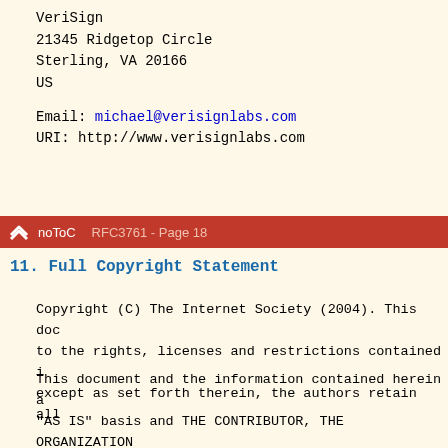VeriSign
21345 Ridgetop Circle
Sterling, VA  20166
US

Email: michael@verisignlabs.com
URI:    http://www.verisignlabs.com
noToC   RFC3761 - Page 18
11.   Full Copyright Statement
Copyright (C) The Internet Society (2004).  This doc
to the rights, licenses and restrictions contained i
except as set forth therein, the authors retain all
This document and the information contained herein a
"AS IS" basis and THE CONTRIBUTOR, THE ORGANIZATION
OR IS SPONSORED BY (IF ANY), THE INTERNET SOCIETY AN
ENGINEERING TASK FORCE DISCLAIM ALL WARRANTIES, EXPR